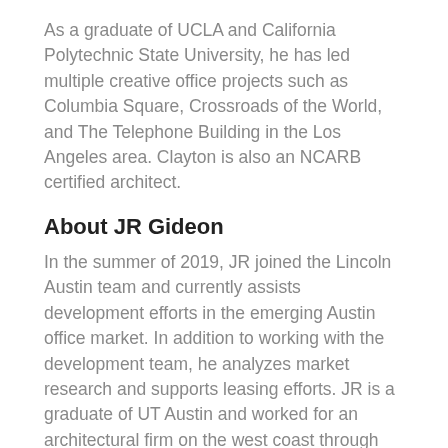As a graduate of UCLA and California Polytechnic State University, he has led multiple creative office projects such as Columbia Square, Crossroads of the World, and The Telephone Building in the Los Angeles area. Clayton is also an NCARB certified architect.
About JR Gideon
In the summer of 2019, JR joined the Lincoln Austin team and currently assists development efforts in the emerging Austin office market. In addition to working with the development team, he analyzes market research and supports leasing efforts. JR is a graduate of UT Austin and worked for an architectural firm on the west coast through the professional residency program in the UT School of Architecture.